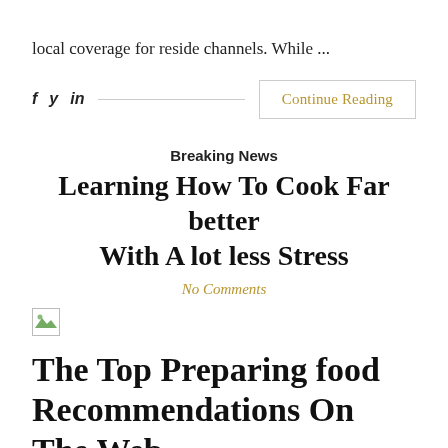local coverage for reside channels. While ...
f  y  in   Continue Reading
Breaking News
Learning How To Cook Far better With A lot less Stress
No Comments
[Figure (other): Broken image placeholder icon]
The Top Preparing food Recommendations On The Web
Another territory amusing that I adore estimates on